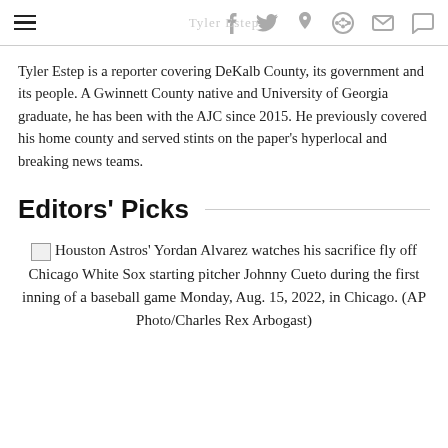Tyler Estep [social icons: facebook, twitter, pinterest, reddit, mail, comment]
Tyler Estep is a reporter covering DeKalb County, its government and its people. A Gwinnett County native and University of Georgia graduate, he has been with the AJC since 2015. He previously covered his home county and served stints on the paper's hyperlocal and breaking news teams.
Editors' Picks
Houston Astros' Yordan Alvarez watches his sacrifice fly off Chicago White Sox starting pitcher Johnny Cueto during the first inning of a baseball game Monday, Aug. 15, 2022, in Chicago. (AP Photo/Charles Rex Arbogast)